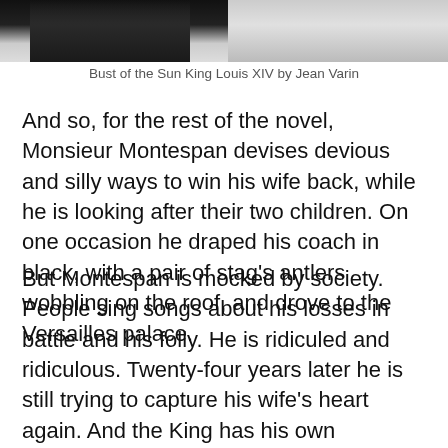[Figure (photo): Partial view of a bust sculpture, likely of Louis XIV, showing dark shoulders/clothing against a light background. Only the lower portion is visible at the top of the page.]
Bust of the Sun King Louis XIV by Jean Varin
And so, for the rest of the novel, Monsieur Montespan devises devious and silly ways to win his wife back, while he is looking after their two children. On one occasion he draped his coach in black, with a pair of stag's antlers wobbling on the roof, and drove to the Versailles palace.
But Montespan is mocked by society. People sing songs about his losses in battle and his folly. He is ridiculed and ridiculous. Twenty-four years later he is still trying to capture his wife's heart again. And the King has his own strategies for keeping her in the Versailles Palace.